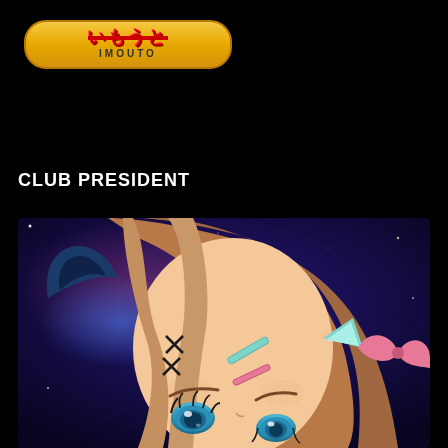[Figure (logo): IMOUTO logo button with yellow/gold pill-shaped background, Japanese text with red strikethrough styling and 'IMOUTO' text below]
CLUB PRESIDENT
[Figure (illustration): Anime character with brown hair, cat ears, teal hair clips and bow accessories, blue eyes, against a dark purple/blue starry galaxy background. Close-up face/head shot.]